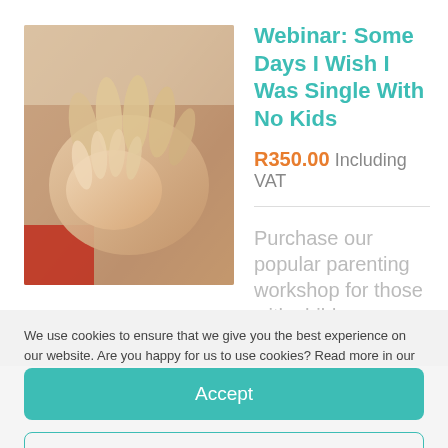[Figure (photo): Close-up photo of hands (adult and child hands together), soft warm tones with a red element visible]
Webinar: Some Days I Wish I Was Single With No Kids
R350.00 Including VAT
Purchase our popular parenting workshop for those with children
We use cookies to ensure that we give you the best experience on our website. Are you happy for us to use cookies? Read more in our
Accept
Deny